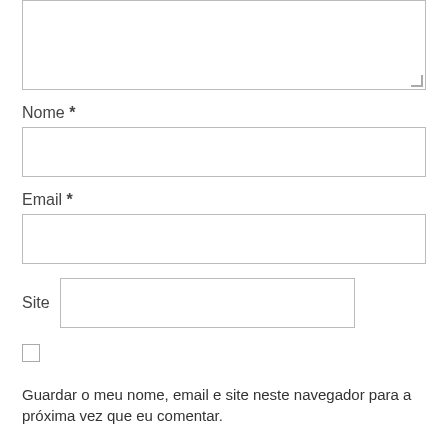[Figure (screenshot): Text area input box (partially visible at top of page, showing resize handle in bottom-right corner)]
Nome *
[Figure (screenshot): Text input field for Nome]
Email *
[Figure (screenshot): Text input field for Email]
Site
[Figure (screenshot): Text input field for Site]
[Figure (screenshot): Checkbox (unchecked)]
Guardar o meu nome, email e site neste navegador para a próxima vez que eu comentar.
[Figure (screenshot): Button labeled 'Publicar comentário' with pink/crimson border and text]